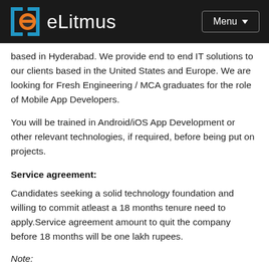eLitmus  Menu
based in Hyderabad. We provide end to end IT solutions to our clients based in the United States and Europe. We are looking for Fresh Engineering / MCA graduates for the role of Mobile App Developers.
You will be trained in Android/iOS App Development or other relevant technologies, if required, before being put on projects.
Service agreement:
Candidates seeking a solid technology foundation and willing to commit atleast a 18 months tenure need to apply.Service agreement amount to quit the company before 18 months will be one lakh rupees.
Note:
There will be a 4.5 months training during which you will be